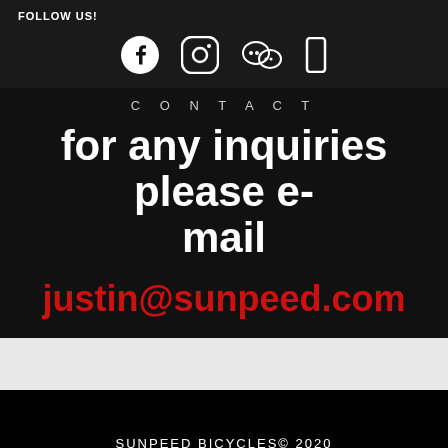FOLLOW US!
[Figure (illustration): Social media icons: Facebook, Instagram, WeChat, and a fourth icon (possibly Weibo or another platform), all white on dark background]
CONTACT
for any inquiries please e-mail
justin@sunpeed.com
SUNPEED BICYCLES© 2020 粤ICP备13049134号